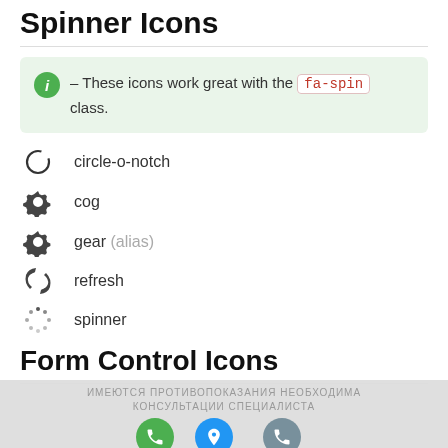Spinner Icons
These icons work great with the fa-spin class.
circle-o-notch
cog
gear (alias)
refresh
spinner
Form Control Icons
ИМЕЮТСЯ ПРОТИВОПОКАЗАНИЯ НЕОБХОДИМА КОНСУЛЬТАЦИЯ СПЕЦИАЛИСТА
Звонок  Навигатор  Обратная связь